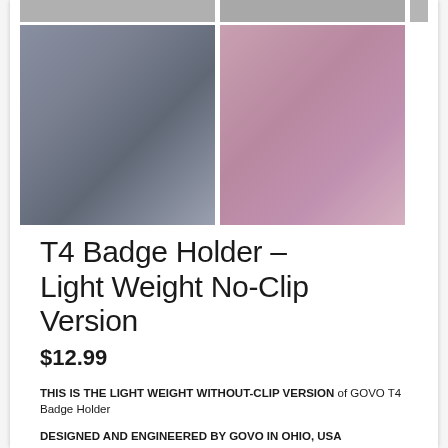[Figure (photo): Product photo grid showing T4 Badge Holder from multiple angles — top row shows partial product images, bottom row shows two larger images: left showing badge holder parts laid out, right showing a pink/purple badge holder]
T4 Badge Holder – Light Weight No-Clip Version
$12.99
THIS IS THE LIGHT WEIGHT WITHOUT-CLIP VERSION of GOVO T4 Badge Holder
DESIGNED AND ENGINEERED BY GOVO IN OHIO, USA
BUILT TO LAST: The eyelet for connecting to